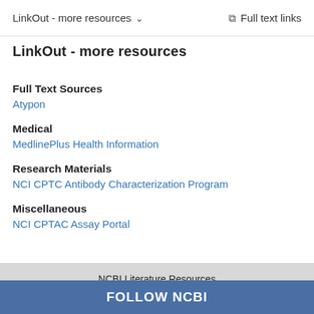LinkOut - more resources   Full text links
LinkOut - more resources
Full Text Sources
Atypon
Medical
MedlinePlus Health Information
Research Materials
NCI CPTC Antibody Characterization Program
Miscellaneous
NCI CPTAC Assay Portal
NCBI Literature Resources MeSH PMC Bookshelf Disclaimer
FOLLOW NCBI